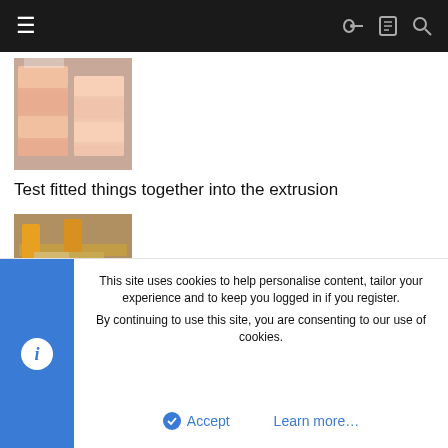≡  🔑 📋 🔍
[Figure (photo): Orange and pink plastic drawer/storage units stacked together on a wooden surface]
Test fitted things together into the extrusion
[Figure (photo): Orange 3D printed parts test fitted onto an aluminium extrusion frame on a workbench]
Got in the molex extensions so can organise the cables nicely.
[Figure (photo): Partially visible image of molex extension cables]
This site uses cookies to help personalise content, tailor your experience and to keep you logged in if you register.
By continuing to use this site, you are consenting to our use of cookies.